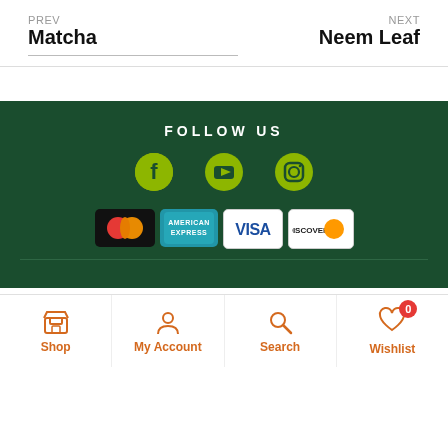PREV
Matcha
NEXT
Neem Leaf
FOLLOW US | Social icons: Facebook, YouTube, Instagram | Payment: Mastercard, American Express, Visa, Discover
Shop | My Account | Search | Wishlist (0)